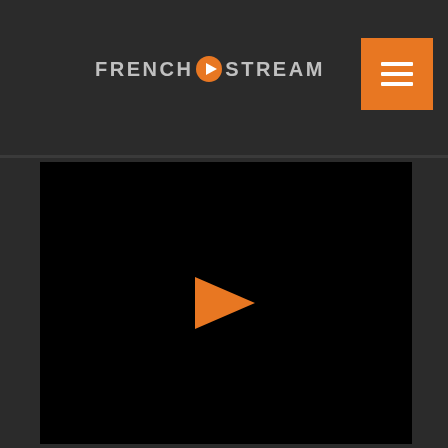[Figure (logo): French Stream logo with orange play button circle between FRENCH and STREAM text]
[Figure (screenshot): Black video player area with an orange play triangle arrow in the center]